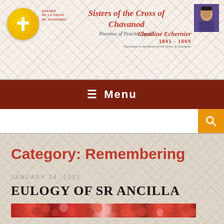Sisters of the Cross of Chavanod — Province of Tiruchirappalli — Claudine Echernier 1801-1869 Foundress of the Sisters of the Cross of Chavanod
≡ Menu
Category: Remembering
JANUARY 24, 2022
EULOGY OF SR ANCILLA
[Figure (photo): Floral arrangement image strip showing red and pink flowers]